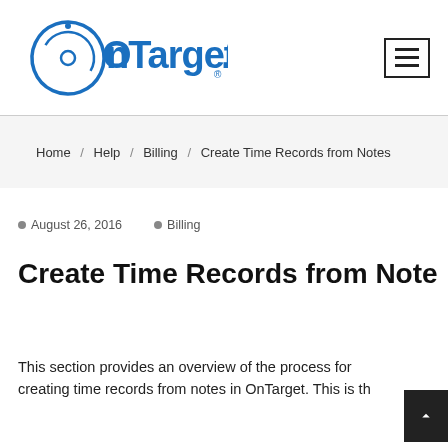[Figure (logo): OnTarget logo - circular target/orbit icon in blue with 'OnTarget' text in blue]
Home / Help / Billing / Create Time Records from Notes
August 26, 2016   Billing
Create Time Records from Notes
This section provides an overview of the process for creating time records from notes in OnTarget. This is th